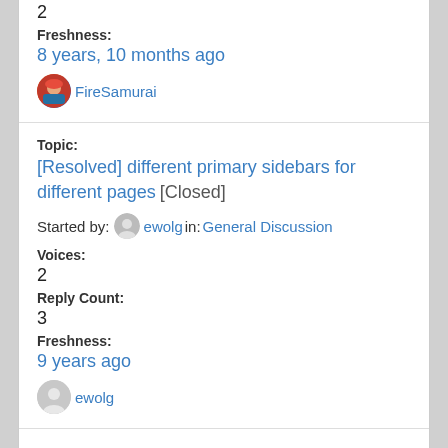2
Freshness:
8 years, 10 months ago
FireSamurai
Topic:
[Resolved] different primary sidebars for different pages [Closed]
Started by: ewolg in: General Discussion
Voices:
2
Reply Count:
3
Freshness:
9 years ago
ewolg